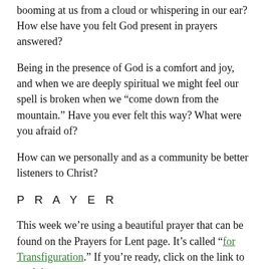booming at us from a cloud or whispering in our ear? How else have you felt God present in prayers answered?
Being in the presence of God is a comfort and joy, and when we are deeply spiritual we might feel our spell is broken when we “come down from the mountain.” Have you ever felt this way? What were you afraid of?
How can we personally and as a community be better listeners to Christ?
P R A Y E R
This week we’re using a beautiful prayer that can be found on the Prayers for Lent page. It’s called “for Transfiguration.” If you’re ready, click on the link to read the prayer.
If you don’t already keep a prayer journal, maybe this Lent you’d consider experimenting with this rewarding spiritual